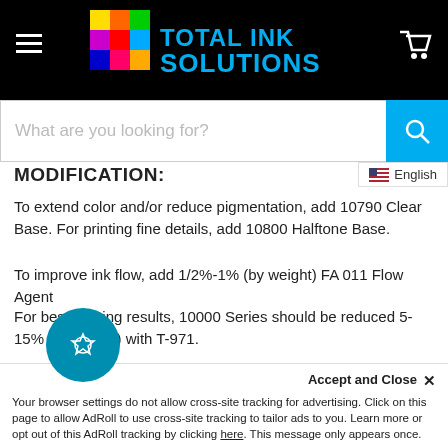Total Ink Solutions
[Figure (screenshot): Search bar with placeholder text 'What are you looking for?' and a teal search button]
MODIFICATION:
To extend color and/or reduce pigmentation, add 10790 Clear Base. For printing fine details, add 10800 Halftone Base.
To improve ink flow, add 1/2%-1% (by weight) FA 011 Flow Agent
For best printing results, 10000 Series should be reduced 5-15% (by weight) with T-971.
To prevent ink drying under hot & humid conditions, add T-922 or T-980 or T-999 (use sparingly).
Your browser settings do not allow cross-site tracking for advertising. Click on this page to allow AdRoll to use cross-site tracking to tailor ads to you. Learn more or opt out of this AdRoll tracking by clicking here. This message only appears once.